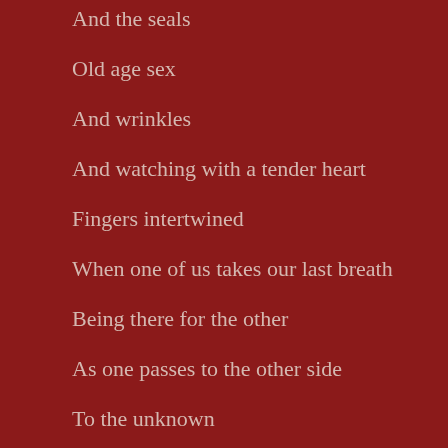And the seals
Old age sex
And wrinkles
And watching with a tender heart
Fingers intertwined
When one of us takes our last breath
Being there for the other
As one passes to the other side
To the unknown